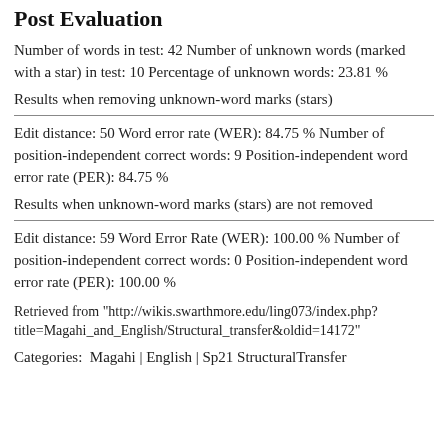Post Evaluation
Number of words in test: 42 Number of unknown words (marked with a star) in test: 10 Percentage of unknown words: 23.81 %
Results when removing unknown-word marks (stars)
Edit distance: 50 Word error rate (WER): 84.75 % Number of position-independent correct words: 9 Position-independent word error rate (PER): 84.75 %
Results when unknown-word marks (stars) are not removed
Edit distance: 59 Word Error Rate (WER): 100.00 % Number of position-independent correct words: 0 Position-independent word error rate (PER): 100.00 %
Retrieved from "http://wikis.swarthmore.edu/ling073/index.php?title=Magahi_and_English/Structural_transfer&oldid=14172"
Categories:  Magahi | English | Sp21 StructuralTransfer